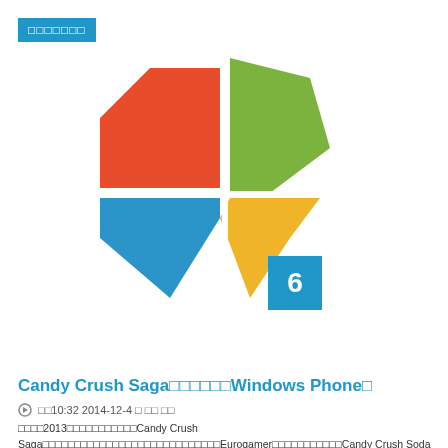□□□□□□□
[Figure (logo): Microsoft logo combined with a heart/diamond shape in red, green, blue and yellow, with a blue badge showing the number 6]
Candy Crush Saga□□□□□□Windows Phone□
□□10:32 2014-12-4 □ □□ □□
□□□□2013□□□□□□□□□□□Candy Crush Saga□□□□□□□□□□□□□□□□□□□□□□□□□□□□Eurogamer□□□□□□□□□□□Candy Crush Soda Saga□□□□□iOS/Android□□□□□□□King□□□□□□□□□□□□□□□□□□Candy Crush Saga□□Windows Phone□ □□...